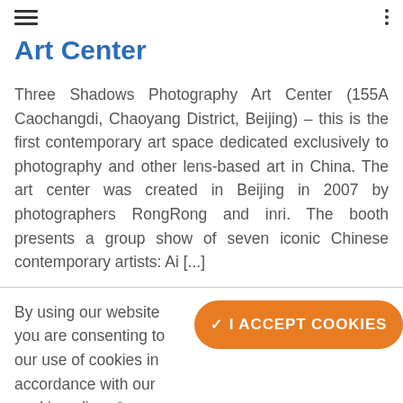☰  ⋮
Art Center
Three Shadows Photography Art Center (155A Caochangdi, Chaoyang District, Beijing) – this is the first contemporary art space dedicated exclusively to photography and other lens-based art in China. The art center was created in Beijing in 2007 by photographers RongRong and inri. The booth presents a group show of seven iconic Chinese contemporary artists: Ai [...]
By using our website you are consenting to our use of cookies in accordance with our cookie policy 🔗.
✓ I ACCEPT COOKIES